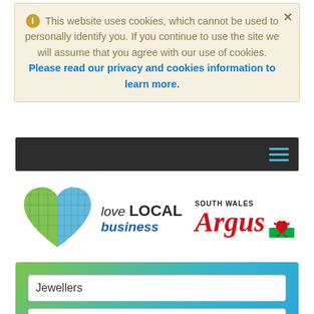This website uses cookies, which cannot be used to personally identify you. If you continue to use the site we will assume that you agree with our use of cookies. Please read our privacy and cookies information to learn more.
[Figure (logo): Navigation bar with hamburger menu icon on dark background]
[Figure (logo): Love LOCAL business logo with heart icon and South Wales Argus logo]
Jewellers
UK, town or postcode
Search